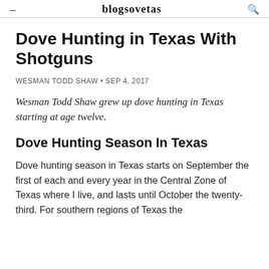≡  blogsovetas  🔍
Dove Hunting in Texas With Shotguns
WESMAN TODD SHAW • SEP 4, 2017
Wesman Todd Shaw grew up dove hunting in Texas starting at age twelve.
Dove Hunting Season In Texas
Dove hunting season in Texas starts on September the first of each and every year in the Central Zone of Texas where I live, and lasts until October the twenty-third. For southern regions of Texas the